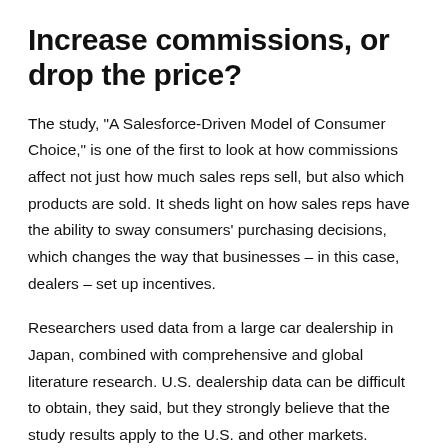Increase commissions, or drop the price?
The study, "A Salesforce-Driven Model of Consumer Choice," is one of the first to look at how commissions affect not just how much sales reps sell, but also which products are sold. It sheds light on how sales reps have the ability to sway consumers' purchasing decisions, which changes the way that businesses – in this case, dealers – set up incentives.
Researchers used data from a large car dealership in Japan, combined with comprehensive and global literature research. U.S. dealership data can be difficult to obtain, they said, but they strongly believe that the study results apply to the U.S. and other markets.
Commenting, the researchers stated to...